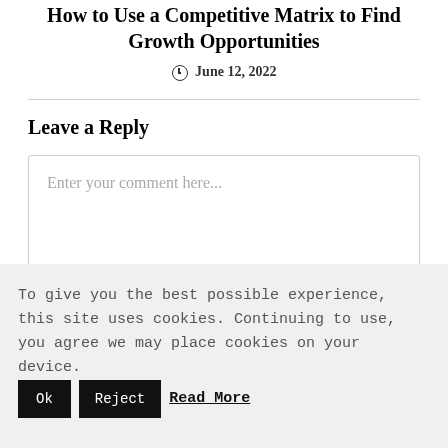How to Use a Competitive Matrix to Find Growth Opportunities
June 12, 2022
Leave a Reply
Enter your comment here...
To give you the best possible experience, this site uses cookies. Continuing to use, you agree we may place cookies on your device. Ok Reject Read More